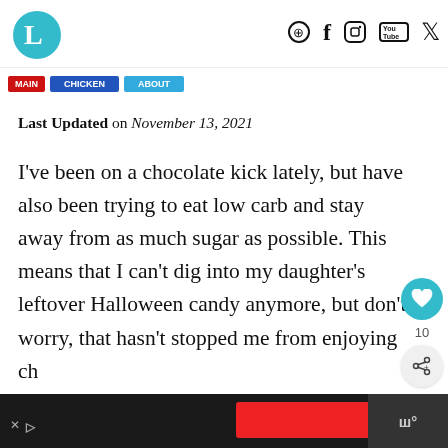L [logo] | Pinterest | Facebook | Instagram | YouTube | Twitter
[Figure (screenshot): Navigation bar with red, dark blue, and light blue buttons partially visible]
Last Updated on November 13, 2021
I've been on a chocolate kick lately, but have also been trying to eat low carb and stay away from as much sugar as possible. This means that I can't dig into my daughter's leftover Halloween candy anymore, but don't worry, that hasn't stopped me from enjoying choco...
[Figure (screenshot): Side widget with teal heart button showing count 10, and a share button]
[Figure (screenshot): Advertisement bar at bottom with X icon, red rectangle ad, and dark right section with degree symbol text]